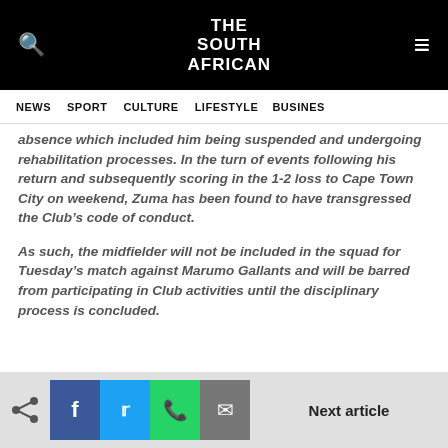THE SOUTH AFRICAN
NEWS  SPORT  CULTURE  LIFESTYLE  BUSINESS
absence which included him being suspended and undergoing rehabilitation processes. In the turn of events following his return and subsequently scoring in the 1-2 loss to Cape Town City on weekend, Zuma has been found to have transgressed the Club's code of conduct.
As such, the midfielder will not be included in the squad for Tuesday's match against Marumo Gallants and will be barred from participating in Club activities until the disciplinary process is concluded.